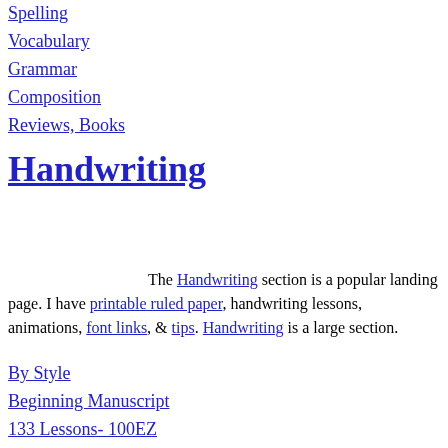Spelling
Vocabulary
Grammar
Composition
Reviews, Books
Handwriting
The Handwriting section is a popular landing page. I have printable ruled paper, handwriting lessons, animations, font links, & tips. Handwriting is a large section.
By Style
Beginning Manuscript
133 Lessons- 100EZ
Small Print
Cursive Handwriting
Paper